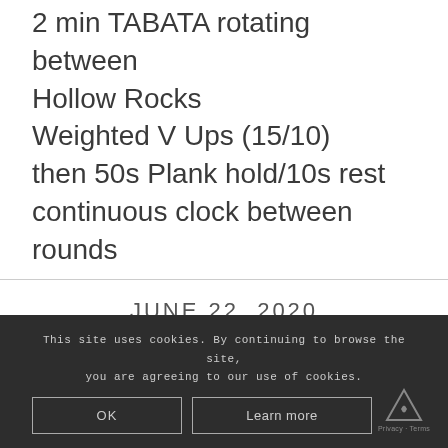2 min TABATA rotating between
Hollow Rocks
Weighted V Ups (15/10)
then 50s Plank hold/10s rest
continuous clock between rounds
JUNE 22, 2020
This site uses cookies. By continuing to browse the site, you are agreeing to our use of cookies.